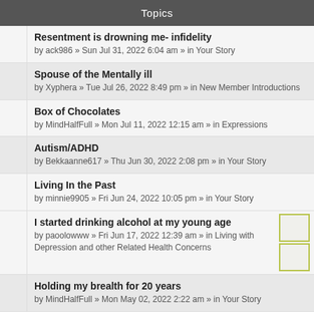Topics
Resentment is drowning me- infidelity
by ack986 » Sun Jul 31, 2022 6:04 am » in Your Story
Spouse of the Mentally ill
by Xyphera » Tue Jul 26, 2022 8:49 pm » in New Member Introductions
Box of Chocolates
by MindHalfFull » Mon Jul 11, 2022 12:15 am » in Expressions
Autism/ADHD
by Bekkaanne617 » Thu Jun 30, 2022 2:08 pm » in Your Story
Living In the Past
by minnie9905 » Fri Jun 24, 2022 10:05 pm » in Your Story
I started drinking alcohol at my young age
by paoolowww » Fri Jun 17, 2022 12:39 am » in Living with Depression and other Related Health Concerns
Holding my brealth for 20 years
by MindHalfFull » Mon May 02, 2022 2:22 am » in Your Story